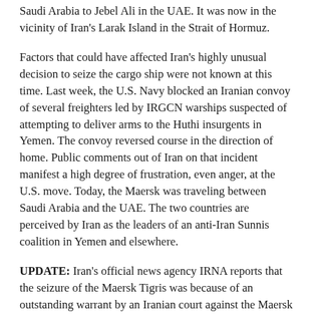Saudi Arabia to Jebel Ali in the UAE. It was now in the vicinity of Iran's Larak Island in the Strait of Hormuz.
Factors that could have affected Iran's highly unusual decision to seize the cargo ship were not known at this time. Last week, the U.S. Navy blocked an Iranian convoy of several freighters led by IRGCN warships suspected of attempting to deliver arms to the Huthi insurgents in Yemen. The convoy reversed course in the direction of home. Public comments out of Iran on that incident manifest a high degree of frustration, even anger, at the U.S. move. Today, the Maersk was traveling between Saudi Arabia and the UAE. The two countries are perceived by Iran as the leaders of an anti-Iran Sunnis coalition in Yemen and elsewhere.
UPDATE: Iran's official news agency IRNA reports that the seizure of the Maersk Tigris was because of an outstanding warrant by an Iranian court against the Maersk shipping lines. IRNA said the warrant was issued after a private Iranian company had filed a claim that Maersk owed money to the company.
The explanation offered by IRNA creates more questions than answers. The IRGC Navy is sent to intercept and seize a cargo ship